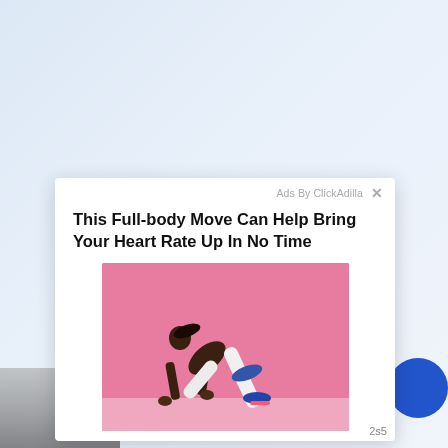[Figure (screenshot): Web page ad popup screenshot. Background is light blue-grey gradient. Bottom-left shows a partial image strip. Bottom-right shows a partial blue circle element. Center-right shows a white popup ad card with 'Ads By ClickAdilla' label and close X button, headline text, and a fitness photo of a woman doing a mountain climber exercise on a pink background, with a '2s5' timer badge.]
Ads By ClickAdilla
This Full-body Move Can Help Bring Your Heart Rate Up In No Time
2s5